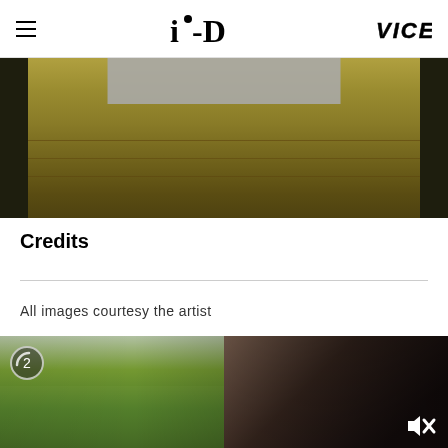i-D | VICE
[Figure (photo): Close-up photo of a textured painting with dark side pillars and a gray rectangle at the top, showing warm golden-brown layered surface]
Credits
All images courtesy the artist
[Figure (photo): Video thumbnail showing a person's side profile on the right, with green foliage on the left and overcast sky. A number badge showing '2' appears in the top-left and a mute icon in the bottom-right.]